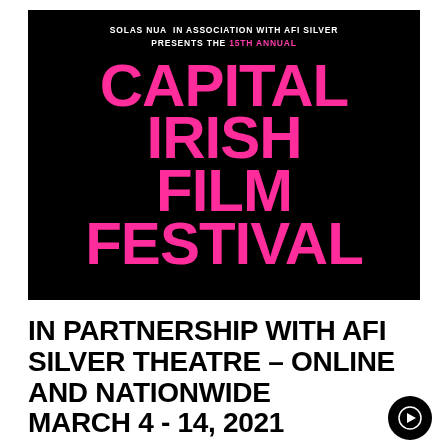[Figure (illustration): Black background poster for the Capital Irish Film Festival. Top text in white reads 'SOLAS NUA IN ASSOCIATION WITH AFI SILVER PRESENTS THE 15TH ANNUAL'. Large pink bold text reads 'CAPITAL IRISH FILM FESTIVAL'.]
IN PARTNERSHIP WITH AFI SILVER THEATRE – ONLINE AND NATIONWIDE MARCH 4 - 14, 2021